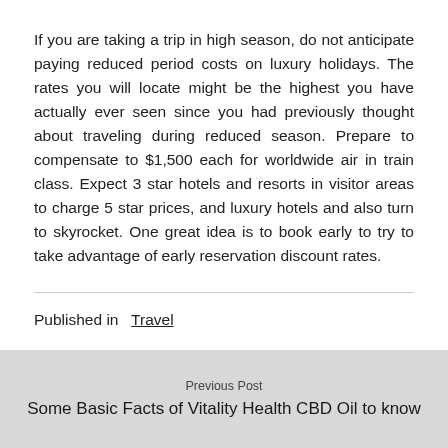If you are taking a trip in high season, do not anticipate paying reduced period costs on luxury holidays. The rates you will locate might be the highest you have actually ever seen since you had previously thought about traveling during reduced season. Prepare to compensate to $1,500 each for worldwide air in train class. Expect 3 star hotels and resorts in visitor areas to charge 5 star prices, and luxury hotels and also turn to skyrocket. One great idea is to book early to try to take advantage of early reservation discount rates.
Published in  Travel
Previous Post
Some Basic Facts of Vitality Health CBD Oil to know